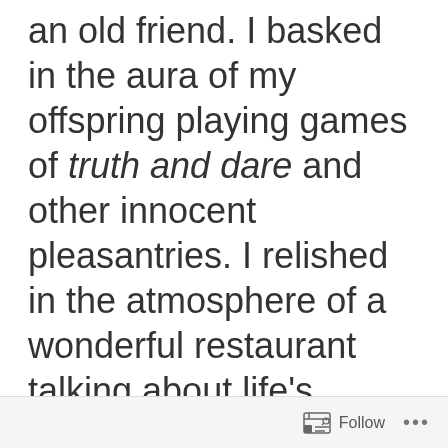an old friend. I basked in the aura of my offspring playing games of truth and dare and other innocent pleasantries. I relished in the atmosphere of a wonderful restaurant talking about life's beauty while drinking cocktails. I had an unplanned but welcomed visit with a college bestie as we enjoyed conversation while being surrounded by beautiful women
Follow ...